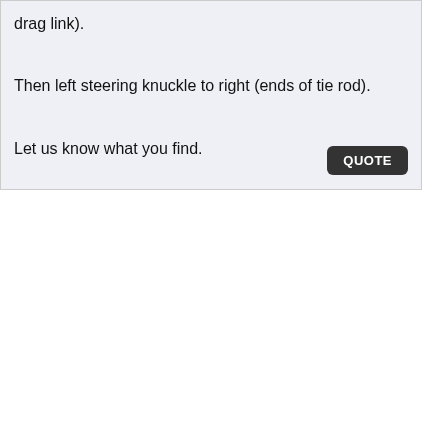drag link).
Then left steering knuckle to right (ends of tie rod).
Let us know what you find.